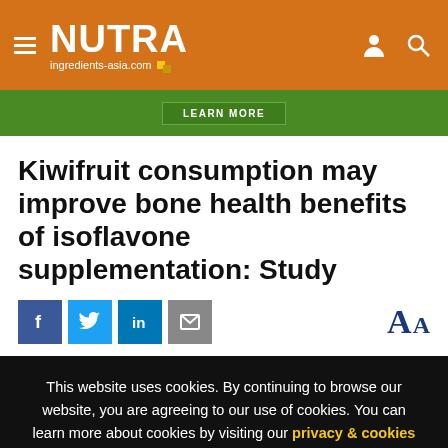NUTRA ingredients-asia.com
[Figure (screenshot): Green advertisement banner with LEARN MORE button]
Kiwifruit consumption may improve bone health benefits of isoflavone supplementation: Study
[Figure (infographic): Social sharing icons: Facebook, Twitter, LinkedIn, Email, and font-size AA controls]
This website uses cookies. By continuing to browse our website, you are agreeing to our use of cookies. You can learn more about cookies by visiting our privacy & cookies policy page.